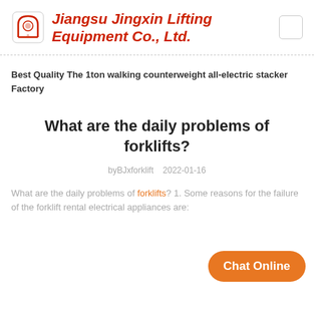Jiangsu Jingxin Lifting Equipment Co., Ltd.
Best Quality The 1ton walking counterweight all-electric stacker Factory
What are the daily problems of forklifts?
byBJxforklift   2022-01-16
What are the daily problems of forklifts? 1. Some reasons for the failure of the forklift rental electrical appliances are: